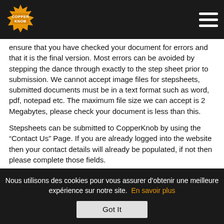[Figure (logo): CopperKnob logo badge - orange starburst with text]
ensure that you have checked your document for errors and that it is the final version. Most errors can be avoided by stepping the dance through exactly to the step sheet prior to submission. We cannot accept image files for stepsheets, submitted documents must be in a text format such as word, pdf, notepad etc. The maximum file size we can accept is 2 Megabytes, please check your document is less than this.
Stepsheets can be submitted to CopperKnob by using the “Contact Us” Page. If you are already logged into the website then your contact details will already be populated, if not then please complete those fields.
Contact Us Page
Change the subject dropdown to “Stepsheet
Nous utilisons des cookies pour vous assurer d’obtenir une meilleure expérience sur notre site. En savoir plus
Got It